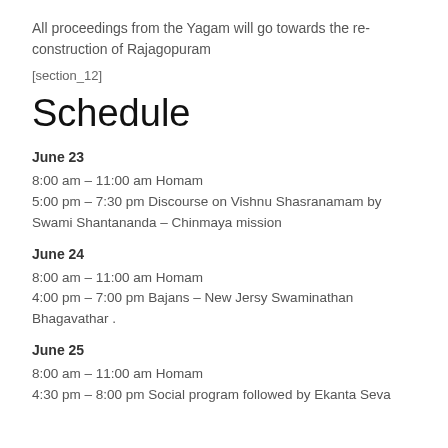All proceedings from the Yagam will go towards the re-construction of Rajagopuram
[section_12]
Schedule
June 23
8:00 am – 11:00 am Homam
5:00 pm – 7:30 pm Discourse on Vishnu Shasranamam by Swami Shantananda – Chinmaya mission
June 24
8:00 am – 11:00 am Homam
4:00 pm – 7:00 pm Bajans – New Jersy Swaminathan Bhagavathar .
June 25
8:00 am – 11:00 am Homam
4:30 pm – 8:00 pm Social program followed by Ekanta Seva